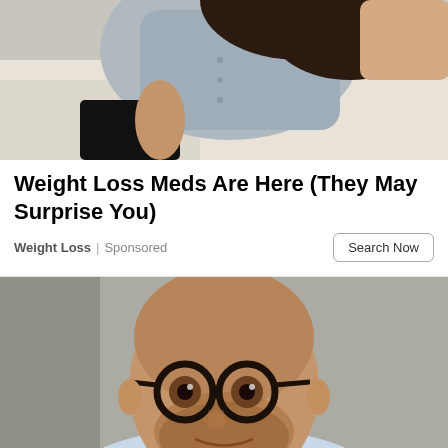[Figure (photo): Woman in gray button-up shirt sitting on a white couch, partial view cropped at top]
Weight Loss Meds Are Here (They May Surprise You)
Weight Loss | Sponsored
Search Now
[Figure (photo): Middle-aged bald man with round glasses and stubble beard, smiling, wearing a light blue shirt, leaning against a gray concrete wall]